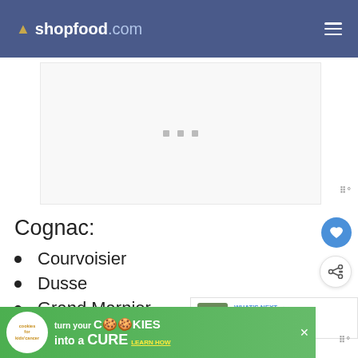shopfood.com
[Figure (screenshot): Advertisement banner placeholder with three gray dots centered]
Cognac:
Courvoisier
Dusse
Grand Marnier
[Figure (screenshot): Cookies for Kids' Cancer advertisement: turn your COOKIES into a CURE - LEARN HOW]
[Figure (screenshot): What's Next panel: You Can Get a Free...]